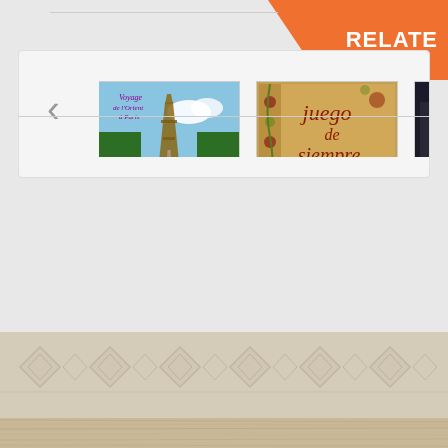RELATE
[Figure (illustration): Album cover: Voyage de l'Orient à Paris - Balalaika instrument in front of Eiffel Tower with blue sky and green hedges]
VERONIKA BULYCHEVA & THE IZUMRUD ENSEMBLE
[Figure (illustration): Album cover: Juego de siempre - Anna Hoffman & Romancero Sefardi, illuminated manuscript style with floral decorations]
ANNA HOFFMAN & ROMANCERO SEFARDI «JUEGO DE
[Figure (photo): Partial album cover, dark/black image partially visible]
JO
[Figure (illustration): Decorative footer with geometric diamond/rhombus pattern on wood-textured background]